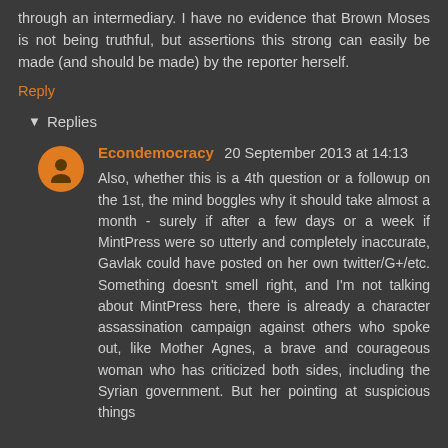through an intermediary. I have no evidence that Brown Moses is not being truthful, but assertions this strong can easily be made (and should be made) by the reporter herself.
Reply
Replies
Econdemocracy 20 September 2013 at 14:13
Also, whether this is a 4th question or a followup on the 1st, the mind boggles why it should take almost a month - surely if after a few days or a week if MintPress were so utterly and completely inaccurate, Gavlak could have posted on her own twitter/G+/etc. Something doesn't smell right, and I'm not talking about MintPress here, there is already a character assassination campaign against others who spoke out, like Mother Agnes, a brave and courageous woman who has criticized both sides, including the Syrian government. But her pointing at suspicious things